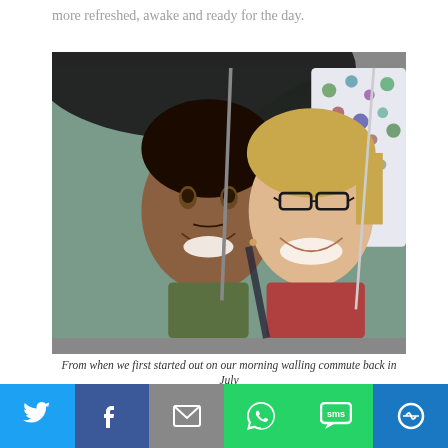more refreshed, awake and ready for the day.
[Figure (photo): Two people smiling and holding umbrellas, taking a selfie outdoors. A man on the left in a green t-shirt and a woman on the right with glasses and red top.]
From when we first started out on our morning walling commute back in July
[Figure (infographic): Social media share bar with buttons for Twitter, Facebook, Email, WhatsApp, SMS, and More options]